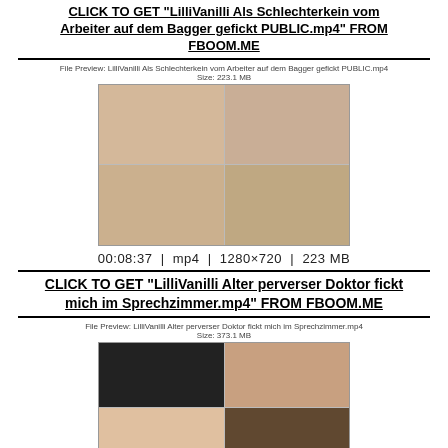CLICK TO GET "LilliVanilli Als Schlechterkein vom Arbeiter auf dem Bagger gefickt PUBLIC.mp4" FROM FBOOM.ME
[Figure (photo): 4-panel thumbnail grid of video content]
00:08:37  |  mp4  |  1280×720  |  223 MB
CLICK TO GET "LilliVanilli Alter perverser Doktor fickt mich im Sprechzimmer.mp4" FROM FBOOM.ME
[Figure (photo): 4-panel thumbnail grid of video content]